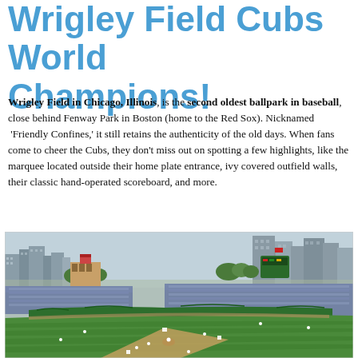Wrigley Field Cubs World Champions!
Wrigley Field in Chicago, Illinois, is the second oldest ballpark in baseball, close behind Fenway Park in Boston (home to the Red Sox). Nicknamed ‘Friendly Confines,’ it still retains the authenticity of the old days. When fans come to cheer the Cubs, they don’t miss out on spotting a few highlights, like the marquee located outside their home plate entrance, ivy covered outfield walls, their classic hand-operated scoreboard, and more.
[Figure (photo): Aerial/elevated view of Wrigley Field baseball stadium in Chicago, showing the green field with players, packed stands full of fans, ivy-covered outfield walls, the scoreboard, and the Chicago city skyline with buildings in the background under a cloudy sky.]